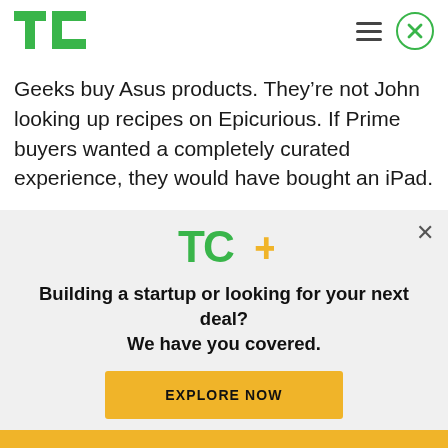TechCrunch logo, hamburger menu, close button
Geeks buy Asus products. They’re not John looking up recipes on Epicurious. If Prime buyers wanted a completely curated experience, they would have bought an iPad.
The troubles keep piling on. Owners are now reporting that the Prime’s GPS function is nearly
[Figure (logo): TC+ logo (TechCrunch Plus) with green TC and yellow plus sign]
Building a startup or looking for your next deal? We have you covered.
EXPLORE NOW